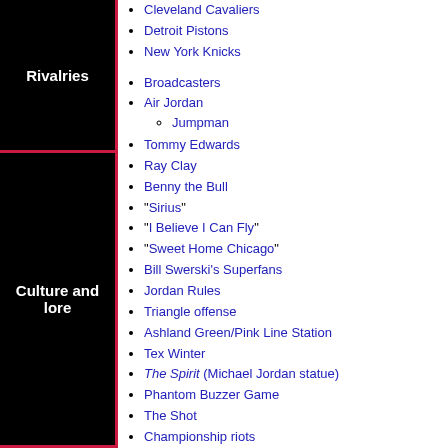Rivalries
Cleveland Cavaliers
Detroit Pistons
New York Knicks
Culture and lore
Broadcasters
Air Jordan
Jumpman
Tommy Edwards
Ray Clay
Benny the Bull
"Sirius"
"I Believe I Can Fly"
"Sweet Home Chicago"
Bill Swerski's Superfans
Jordan Rules
Triangle offense
Ashland Green/Pink Line Station
Tex Winter
The Spirit (Michael Jordan statue)
Phantom Buzzer Game
The Shot
Championship riots
Bulls vs Lakers and the NBA Playoffs
Bulls vs. Blazers and the NBA Playoffs
Trent Tucker Rule
Disputed foul against Scottie Pippen